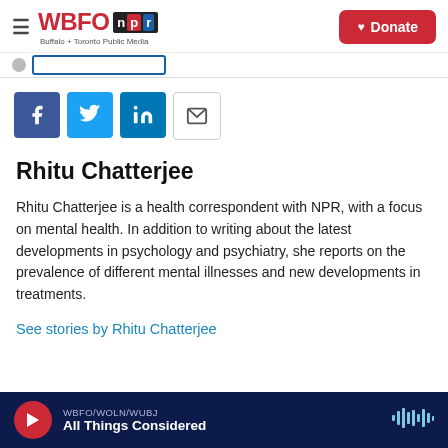WBFO NPR — Buffalo + Toronto Public Media | Donate
[Figure (screenshot): Social share icons: Facebook, Twitter, LinkedIn, Email]
Rhitu Chatterjee
Rhitu Chatterjee is a health correspondent with NPR, with a focus on mental health. In addition to writing about the latest developments in psychology and psychiatry, she reports on the prevalence of different mental illnesses and new developments in treatments.
See stories by Rhitu Chatterjee
WBFO/WOLN/WUBJ — All Things Considered